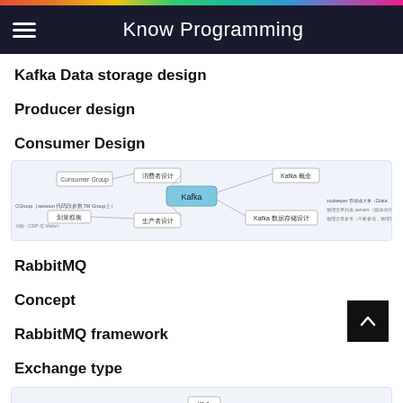Know Programming
Kafka Data storage design
Producer design
Consumer Design
[Figure (other): Mind map diagram of Kafka topics including Consumer Group, 消费者设计, Kafka概念, 生产者设计, Kafka数据存储设计, and zookeeper相关内容 with Chinese text labels]
RabbitMQ
Concept
RabbitMQ framework
Exchange type
[Figure (other): Partial diagram visible at bottom of page showing a node labeled 概念]